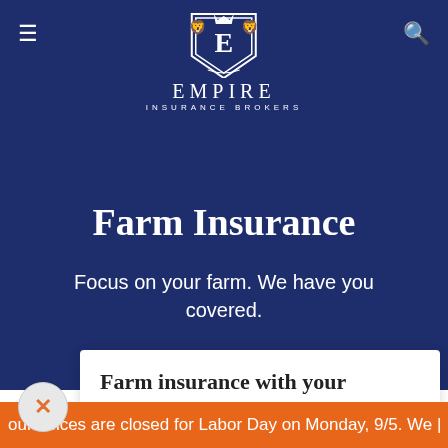[Figure (logo): Empire Insurance Brokers logo — shield crest with letter E and two lions, with EMPIRE INSURANCE BROKERS text below]
Farm Insurance
Focus on your farm. We have you covered.
Farm insurance with your business needs in mind.
Home » Business Insurance »
our offices are closed for Labor Day on Monday, 9/5. We